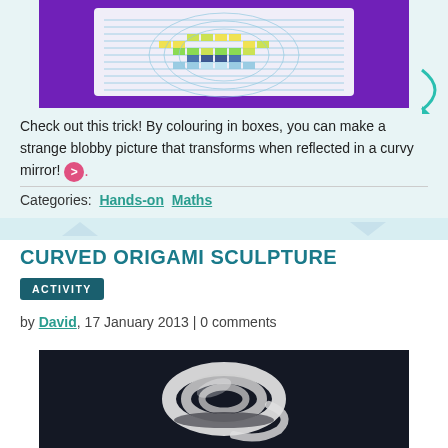[Figure (photo): Anamorphic grid art with colored boxes on purple background, showing a round pattern with yellow, green, and blue stripes]
Check out this trick! By colouring in boxes, you can make a strange blobby picture that transforms when reflected in a curvy mirror!
Categories:  Hands-on  Maths
CURVED ORIGAMI SCULPTURE
ACTIVITY
by David, 17 January 2013 | 0 comments
[Figure (photo): White curved origami sculpture on dark background, forming a spiral shell-like shape]